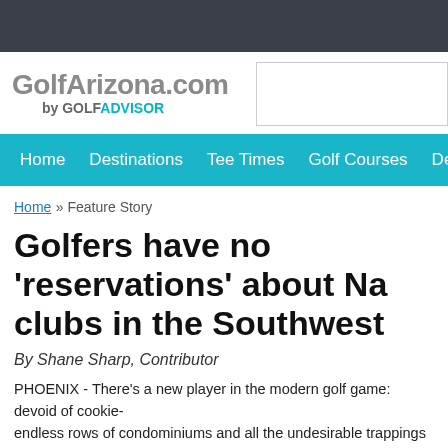[Figure (logo): GolfArizona.com by GOLF ADVISOR logo]
Home | Destinations | Tee Times | Golf Courses | Deals
Home » Feature Story
Golfers have no 'reservations' about Na... clubs in the Southwest
By Shane Sharp, Contributor
PHOENIX - There's a new player in the modern golf game: devoid of cookie- endless rows of condominiums and all the undesirable trappings of the mode- they have become so popular with golfers their tee sheets are typically filled They are so beloved by golf writers and architecture critics nothing bad is sai
They are "reservation courses" and they're hotter than a summer afternoon i